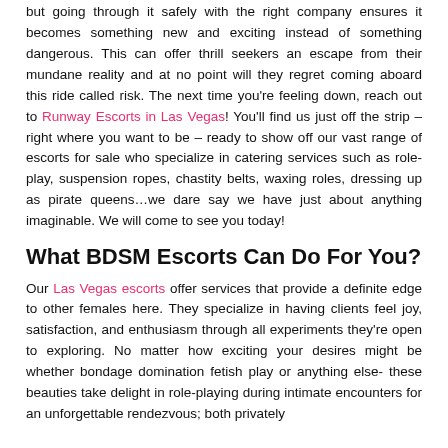but going through it safely with the right company ensures it becomes something new and exciting instead of something dangerous. This can offer thrill seekers an escape from their mundane reality and at no point will they regret coming aboard this ride called risk. The next time you're feeling down, reach out to Runway Escorts in Las Vegas! You'll find us just off the strip – right where you want to be – ready to show off our vast range of escorts for sale who specialize in catering services such as role-play, suspension ropes, chastity belts, waxing roles, dressing up as pirate queens…we dare say we have just about anything imaginable. We will come to see you today!
What BDSM Escorts Can Do For You?
Our Las Vegas escorts offer services that provide a definite edge to other females here. They specialize in having clients feel joy, satisfaction, and enthusiasm through all experiments they're open to exploring. No matter how exciting your desires might be whether bondage domination fetish play or anything else- these beauties take delight in role-playing during intimate encounters for an unforgettable rendezvous; both privately